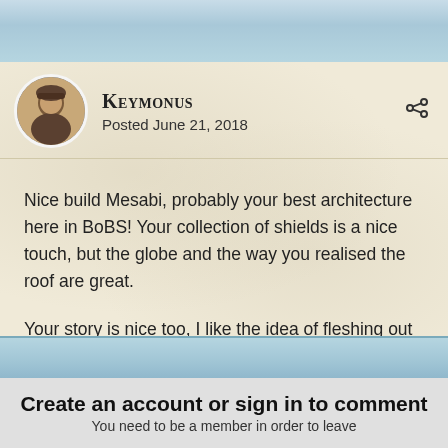[Figure (photo): Decorative blue-grey map/texture banner at top of page]
Keymonus
Posted June 21, 2018
Nice build Mesabi, probably your best architecture here in BoBS! Your collection of shields is a nice touch, but the globe and the way you realised the roof are great.
Your story is nice too, I like the idea of fleshing out non playing nations, even if my Varcoastan storyline was completely abandoned… sooner or later I should continue it 😁
[Figure (photo): Decorative blue-grey map/texture banner at bottom of post area]
Create an account or sign in to comment
You need to be a member in order to leave